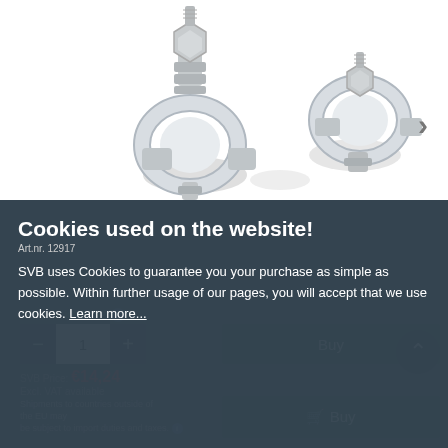[Figure (photo): Two silver/chrome battery terminal clamps (pole terminals) shown on white background. Left terminal has a threaded bolt on top with nut and washer. Right terminal is similar but viewed from different angle. Both are metallic silver colored.]
Cookies used on the website!
Art.nr. 12917
SVB uses Cookies to guarantee you your purchase as simple as possible. Within further usage of our pages, you will accept that we use cookies. Learn more...
Accept only necessary
Accept
301 pcs. in stock
SVB Price: €14,24
Excl. VAT available
€ 14,24
Shipments to countries outside of the EU may be subject to import duties and taxes.